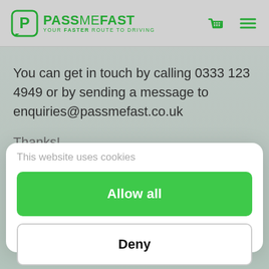[Figure (logo): PassMeFast logo with green P icon in rounded square, green text PASS ME FAST and tagline YOUR FASTER ROUTE TO DRIVING]
You can get in touch by calling 0333 123 4949 or by sending a message to enquiries@passmefast.co.uk
Thanks!
This website uses cookies
Allow all
Deny
Powered by Cookiebot by Usercentrics